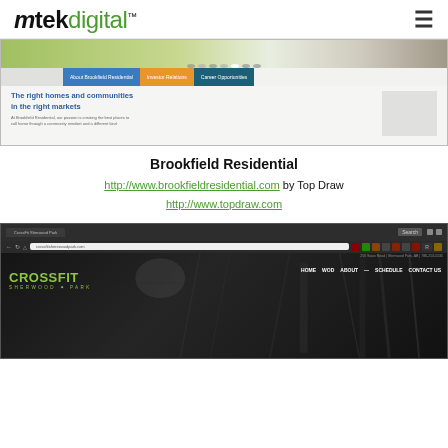mtekdigital™
[Figure (screenshot): Screenshot of Brookfield Residential website showing navigation bar with About Brookfield Residential, Investor Relations, Career Opportunities tabs, and text 'The right homes and communities in the right markets']
Brookfield Residential
http://www.brookfieldresidential.com by Top Draw
http://www.topdraw.com
[Figure (screenshot): Screenshot of CrossFit Sherwood Park website (crossfitsherewoodpark.com) showing dark industrial gym interior with CrossFit Sherwood Park logo in green, and navigation menu: HOME, WOD, ABOUT, SCHEDULE, CONTACT US]